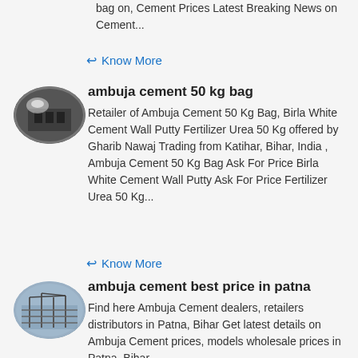bag on, Cement Prices Latest Breaking News on Cement...
Know More
[Figure (photo): Oval thumbnail photo of a dark industrial building, likely a cement plant.]
ambuja cement 50 kg bag
Retailer of Ambuja Cement 50 Kg Bag, Birla White Cement Wall Putty Fertilizer Urea 50 Kg offered by Gharib Nawaj Trading from Katihar, Bihar, India , Ambuja Cement 50 Kg Bag Ask For Price Birla White Cement Wall Putty Ask For Price Fertilizer Urea 50 Kg...
Know More
[Figure (photo): Oval thumbnail photo of a cement plant structure with metal scaffolding and industrial equipment.]
ambuja cement best price in patna
Find here Ambuja Cement dealers, retailers distributors in Patna, Bihar Get latest details on Ambuja Cement prices, models wholesale prices in Patna, Bihar...